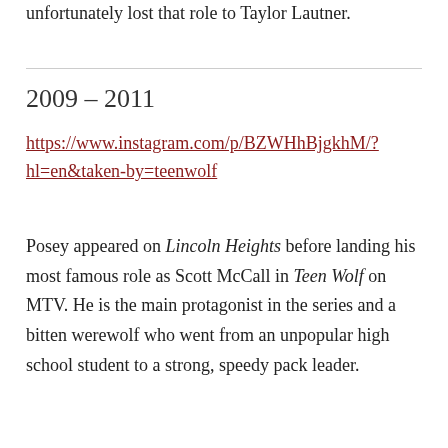unfortunately lost that role to Taylor Lautner.
2009 – 2011
https://www.instagram.com/p/BZWHhBjgkhM/?hl=en&taken-by=teenwolf
Posey appeared on Lincoln Heights before landing his most famous role as Scott McCall in Teen Wolf on MTV. He is the main protagonist in the series and a bitten werewolf who went from an unpopular high school student to a strong, speedy pack leader.